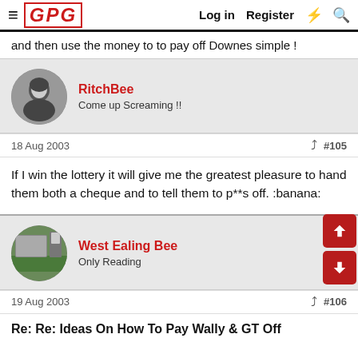GPG — Log in   Register
and then use the money to to pay off Downes simple !
RitchBee
Come up Screaming !!
18 Aug 2003   #105
If I win the lottery it will give me the greatest pleasure to hand them both a cheque and to tell them to p**s off. :banana:
West Ealing Bee
Only Reading
19 Aug 2003   #106
Re: Re: Ideas On How To Pay Wally & GT Off